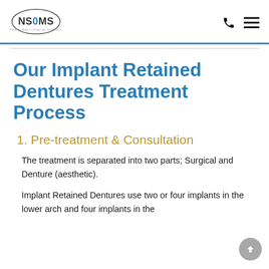NSOMS — Oral & Maxillofacial Surgery logo with phone and menu icons
Our Implant Retained Dentures Treatment Process
1. Pre-treatment & Consultation
The treatment is separated into two parts; Surgical and Denture (aesthetic).
Implant Retained Dentures use two or four implants in the lower arch and four implants in the